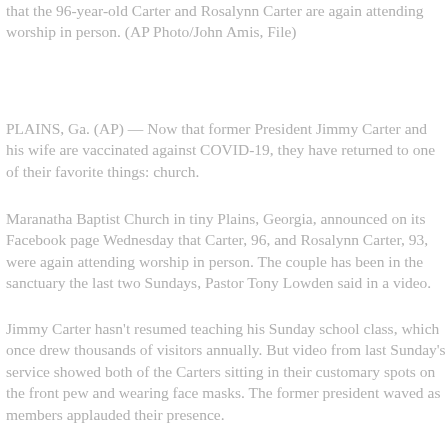that the 96-year-old Carter and Rosalynn Carter are again attending worship in person. (AP Photo/John Amis, File)
PLAINS, Ga. (AP) — Now that former President Jimmy Carter and his wife are vaccinated against COVID-19, they have returned to one of their favorite things: church.
Maranatha Baptist Church in tiny Plains, Georgia, announced on its Facebook page Wednesday that Carter, 96, and Rosalynn Carter, 93, were again attending worship in person. The couple has been in the sanctuary the last two Sundays, Pastor Tony Lowden said in a video.
Jimmy Carter hasn't resumed teaching his Sunday school class, which once drew thousands of visitors annually. But video from last Sunday's service showed both of the Carters sitting in their customary spots on the front pew and wearing face masks. The former president waved as members applauded their presence.